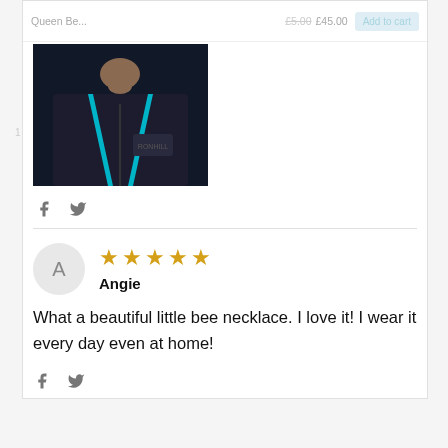[Figure (photo): Product listing showing a person wearing a black zip-up jacket with teal trim and a Ronhill logo, presumably wearing a bee necklace.]
f  (social share icons)
Angie — 5 star review: What a beautiful little bee necklace. I love it! I wear it every day even at home!
f  (social share icons)